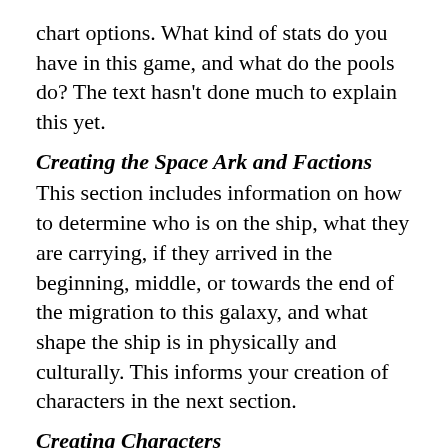chart options. What kind of stats do you have in this game, and what do the pools do? The text hasn't done much to explain this yet.
Creating the Space Ark and Factions
This section includes information on how to determine who is on the ship, what they are carrying, if they arrived in the beginning, middle, or towards the end of the migration to this galaxy, and what shape the ship is in physically and culturally. This informs your creation of characters in the next section.
Creating Characters
This section explains how to create your individual character. This includes picking a faction (mentioned above at the beginning of the game), then picking aspects based on your authority on the ship, your agenda, and free aspects that may relate to your history or relationships with other